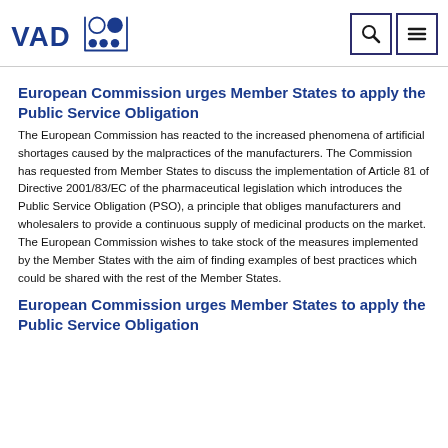VAD logo and navigation header
European Commission urges Member States to apply the Public Service Obligation
The European Commission has reacted to the increased phenomena of artificial shortages caused by the malpractices of the manufacturers. The Commission has requested from Member States to discuss the implementation of Article 81 of Directive 2001/83/EC of the pharmaceutical legislation which introduces the Public Service Obligation (PSO), a principle that obliges manufacturers and wholesalers to provide a continuous supply of medicinal products on the market. The European Commission wishes to take stock of the measures implemented by the Member States with the aim of finding examples of best practices which could be shared with the rest of the Member States.
European Commission urges Member States to apply the Public Service Obligation